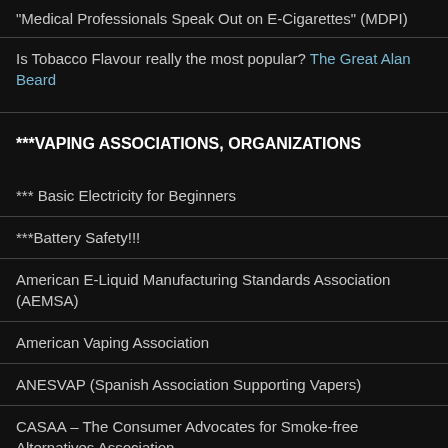"Medical Professionals Speak Out on E-Cigarettes" (MDPI)
Is Tobacco Flavour really the most popular? The Great Alan Beard
***VAPING ASSOCIATIONS, ORGANIZATIONS
*** Basic Electricity for Beginners
***Battery Safety!!!
American E-Liquid Manufacturing Standards Association (AEMSA)
American Vaping Association
ANESVAP (Spanish Association Supporting Vapers)
CASAA – The Consumer Advocates for Smoke-free Alternatives Association
E-Research Foundation
Electronic Vaping Coalition of America